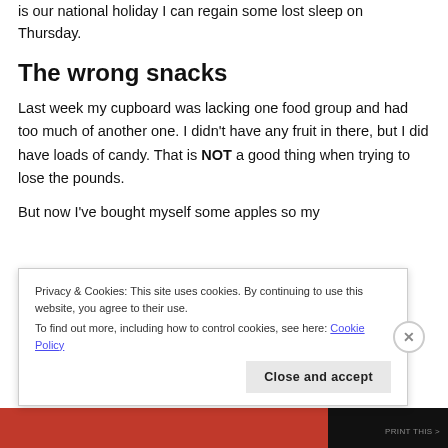is our national holiday I can regain some lost sleep on Thursday.
The wrong snacks
Last week my cupboard was lacking one food group and had too much of another one. I didn’t have any fruit in there, but I did have loads of candy. That is NOT a good thing when trying to lose the pounds.
But now I’ve bought myself some apples so my
Privacy & Cookies: This site uses cookies. By continuing to use this website, you agree to their use.
To find out more, including how to control cookies, see here: Cookie Policy
Close and accept